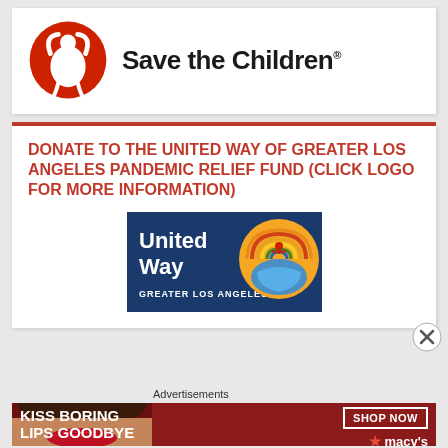[Figure (logo): Save the Children logo: red circle with stylized child figure raising arms, beside bold text 'Save the Children.' with registered trademark symbol]
DONATE TO THE UNITED WAY OF GREATER LOS ANGELES PANDEMIC RELIEF FUND (CLICK LOGO FOR MORE INFORMATION)
[Figure (logo): United Way Greater Los Angeles logo: blue rectangle with 'United Way' in white text, and circular emblem showing hands and rainbow]
Advertisements
[Figure (screenshot): Macy's advertisement banner: dark red background with woman's face/lips, text 'KISS BORING LIPS GOODBYE', 'SHOP NOW' button, and Macy's star logo]